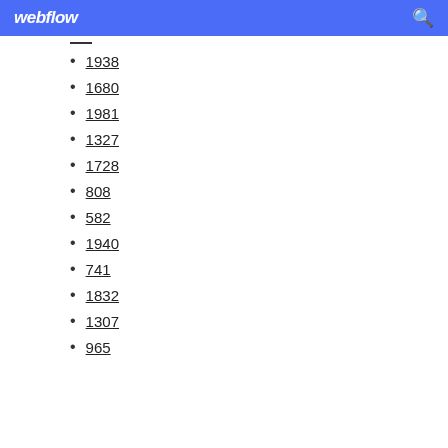webflow
1938
1680
1981
1327
1728
808
582
1940
741
1832
1307
965